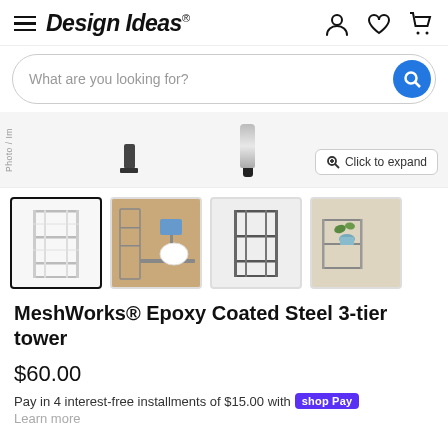Design Ideas
What are you looking for?
[Figure (photo): Product image strip showing partial views of items including a small black object and a tube-shaped product, with a 'Click to expand' button]
[Figure (photo): Thumbnail 1: White 3-tier wire shelving tower (active/selected)]
[Figure (photo): Thumbnail 2: Office scene with shelving unit next to a desk and white chair]
[Figure (photo): Thumbnail 3: Dark/graphite 3-tier wire shelving tower]
[Figure (photo): Thumbnail 4: Shelving unit with plants on a wooden surface]
MeshWorks® Epoxy Coated Steel 3-tier tower
$60.00
Pay in 4 interest-free installments of $15.00 with shop Pay
Learn more